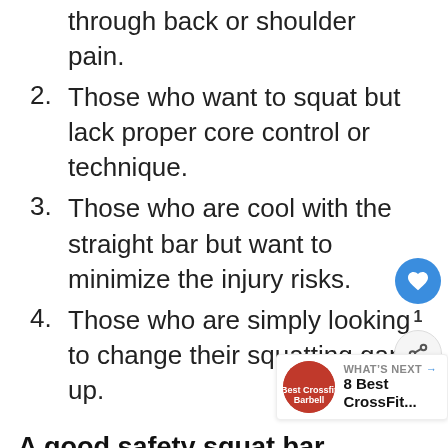through back or shoulder pain.
2. Those who want to squat but lack proper core control or technique.
3. Those who are cool with the straight bar but want to minimize the injury risks.
4. Those who are simply looking to change their squatting game up.
A good safety squat bar basically “forces” you into close-to-perfect form.
It’s an excellent addition to any hom so it comes as no surprise that the competition in the category is fierce